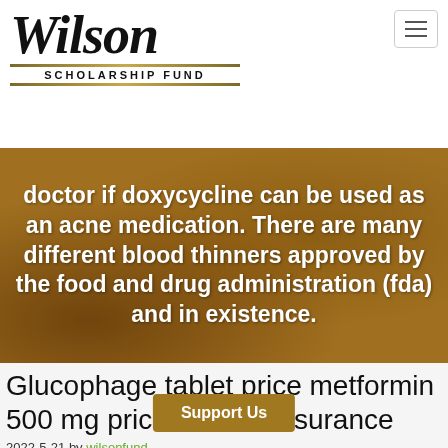[Figure (logo): Wilson Scholarship Fund logo with italic script font and decorative gold dividers]
[Figure (photo): Background photo of scholarship-related items (graduation cap, keys, documents) with warm golden-brown tones]
doctor if doxycycline can be used as an acne medication. There are many different blood thinners approved by the food and drug administration (fda) and in existence.
Glucophage tablet price metformin 500 mg price without insurance
2022-5-21 by wilsonfund
Metformin 1000 mg price without